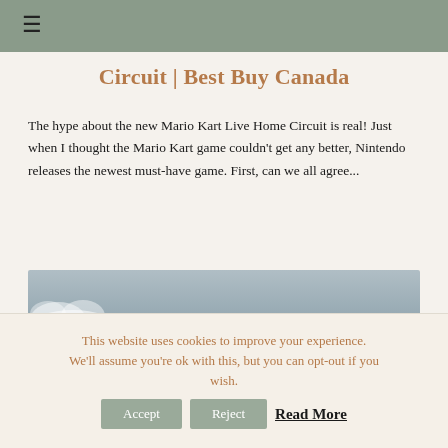≡
Circuit | Best Buy Canada
The hype about the new Mario Kart Live Home Circuit is real! Just when I thought the Mario Kart game couldn't get any better, Nintendo releases the newest must-have game. First, can we all agree...
[Figure (photo): Partial photo showing a sky with clouds, grey-blue tones, bottom portion of image visible]
This website uses cookies to improve your experience. We'll assume you're ok with this, but you can opt-out if you wish. Accept Reject Read More